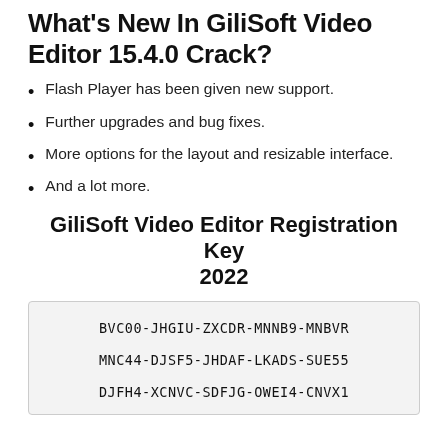What's New In GiliSoft Video Editor 15.4.0 Crack?
Flash Player has been given new support.
Further upgrades and bug fixes.
More options for the layout and resizable interface.
And a lot more.
GiliSoft Video Editor Registration Key 2022
BVC00-JHGIU-ZXCDR-MNNB9-MNBVR
MNC44-DJSF5-JHDAF-LKADS-SUE55
DJFH4-XCNVC-SDFJG-OWEI4-CNVX1